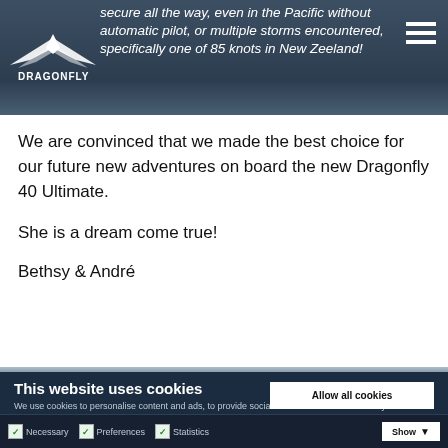secure all the way, even in the Pacific without automatic pilot, or multiple storms encountered, specifically one of 85 knots in New Zeeland!
We are convinced that we made the best choice for our future new adventures on board the new Dragonfly 40 Ultimate.
She is a dream come true!
Bethsy & André
This website uses cookies
We use cookies to personalise content and ads, to provide social media features and to analyse our traffic. We also share information about your use of our site with our social media, advertising and analytics partners who may combine it with other information that you've provided to them or that they've collected from your use of their services.
Allow all cookies
Allow selection
Use necessary cookies only
Necessary   Preferences   Statistics   Show